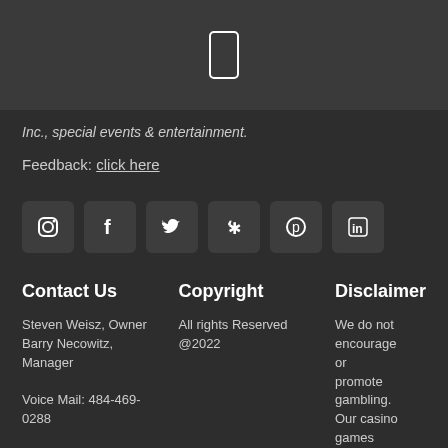Inc., special events & entertainment.
Feedback: click here
[Figure (infographic): Row of six social media icon buttons: Instagram, Facebook, Twitter, Yelp, Pinterest, LinkedIn]
Contact Us
Copyright
Disclaimer
Steven Weisz, Owner
Barry Necowitz, Manager
All rights Reserved @2022
We do not encourage or promote gambling. Our casino games are for entertainment value only. Have a
Voice Mail: 484-469-0288